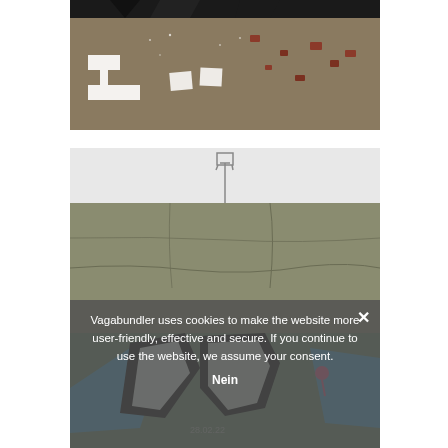[Figure (photo): Aerial or overhead photo of graffiti letters (white zigzag/S-shape) on a dirt/rubble ground with scattered debris and red bricks. Dark border at top.]
[Figure (photo): Photo of a concrete wall with graffiti at the bottom — bold letters in black outline with blue and white fill, and a pink map-pin icon. A small cart/trolley silhouette visible at the top of the wall. Date stamp '28.02.22' visible.]
Vagabundler uses cookies to make the website more user-friendly, effective and secure. If you continue to use the website, we assume your consent.
Nein